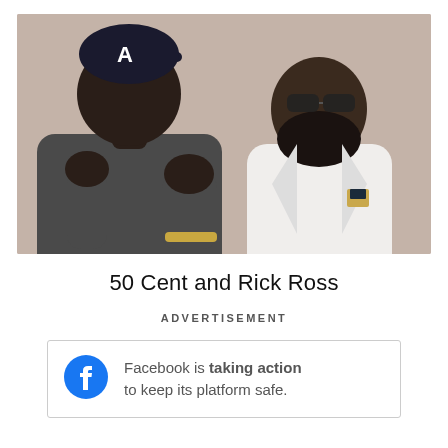[Figure (photo): Two men posing together against a taupe/beige background. On the left, a heavyset man wearing a dark gray hoodie and an Atlanta Braves cap, making a fist. On the right, a large man with a beard wearing a white suit jacket and dark sunglasses.]
50 Cent and Rick Ross
ADVERTISEMENT
Facebook is taking action to keep its platform safe.